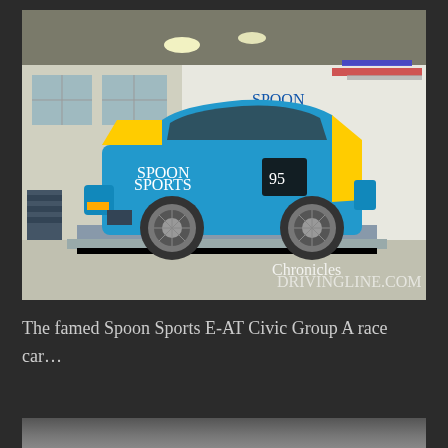[Figure (photo): A blue and yellow Spoon Sports Honda Civic race car with number 95, parked inside a garage/workshop on a platform or dyno, with a Spoon Sports banner in the background. Photo watermarked with 'Chronicles' logo.]
The famed Spoon Sports E-AT Civic Group A race car…